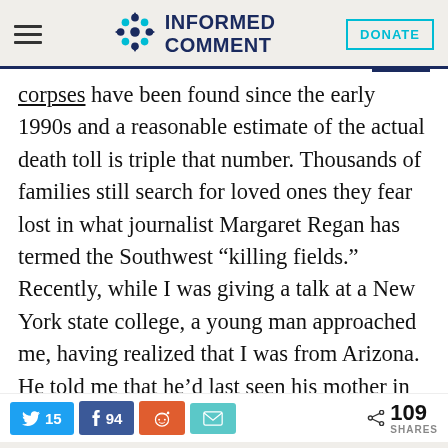Informed Comment [logo] DONATE
corpses have been found since the early 1990s and a reasonable estimate of the actual death toll is triple that number. Thousands of families still search for loved ones they fear lost in what journalist Margaret Regan has termed the Southwest “killing fields.” Recently, while I was giving a talk at a New York state college, a young man approached me, having realized that I was from Arizona. He told me that he’d last seen his mother in the desert near Nogales
15 [Twitter] 94 [Facebook] [Reddit] [Email] < 109 SHARES